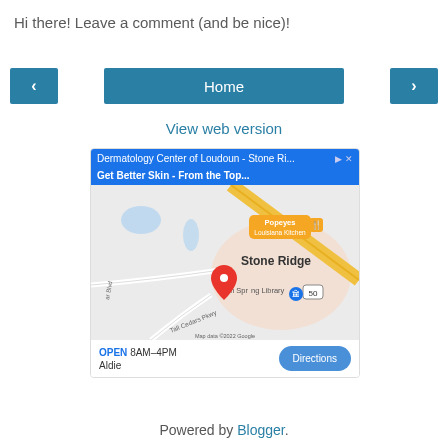Hi there! Leave a comment (and be nice)!
< Home >
View web version
[Figure (map): Google Maps advertisement showing Dermatology Center of Loudoun - Stone Ridge area map with Gum Spring Library marker, Popeyes Louisiana Kitchen, Stone Ridge label, and road 50. Shows OPEN 8AM-4PM, Aldie location with Directions button.]
Powered by Blogger.